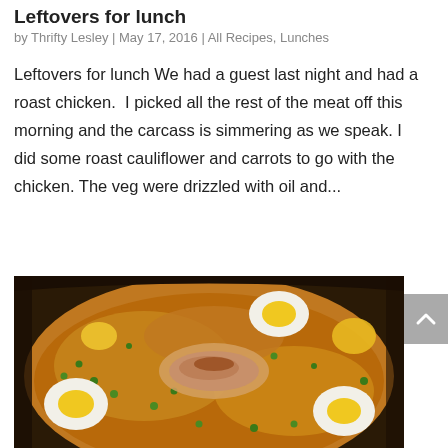Leftovers for lunch
by Thrifty Lesley | May 17, 2016 | All Recipes, Lunches
Leftovers for lunch We had a guest last night and had a roast chicken.  I picked all the rest of the meat off this morning and the carcass is simmering as we speak. I did some roast cauliflower and carrots to go with the chicken. The veg were drizzled with oil and...
[Figure (photo): A pan of rice dish with peas, carrots, chicken pieces, and halved boiled eggs with orange yolks on top]